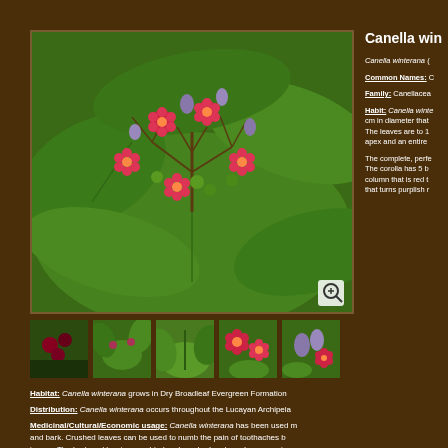Canella winterana
[Figure (photo): Close-up photo of Canella winterana flowers and berries showing red/pink flowers, green and purple-grey buds on green leaves]
[Figure (photo): Thumbnail 1: berries/fruit cluster]
[Figure (photo): Thumbnail 2: leafy shrub]
[Figure (photo): Thumbnail 3: leaves close-up]
[Figure (photo): Thumbnail 4: red flowers]
[Figure (photo): Thumbnail 5: purple-grey buds and red flowers]
Canella winterana (
Common Names: C
Family: Canellacea
Habit: Canella winte... cm in diameter that... The leaves are to 1... apex and an entire
The complete, perfe... The corolla has 5 b... column that is red t... that turns purplish r
Habitat: Canella winterana grows in Dry Broadleaf Evergreen Formation
Distribution: Canella winterana occurs throughout the Lucayan Archipela
Medicinal/Cultural/Economic usage: Canella winterana has been used m... and bark. Crushed leaves can be used to numb the pain of toothaches b... issues. The bark and berries are dried and crushed and used commercia